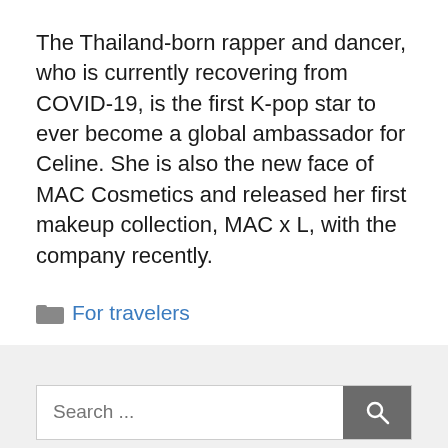The Thailand-born rapper and dancer, who is currently recovering from COVID-19, is the first K-pop star to ever become a global ambassador for Celine. She is also the new face of MAC Cosmetics and released her first makeup collection, MAC x L, with the company recently.
For travelers
Search ...